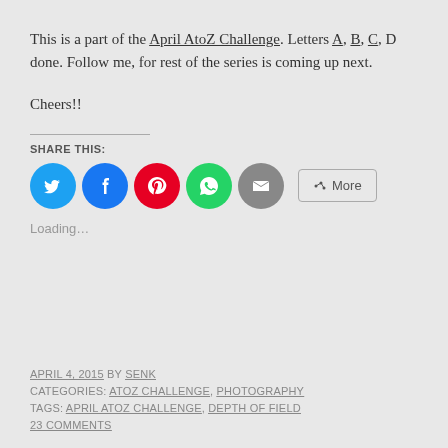This is a part of the April AtoZ Challenge. Letters A, B, C, D done. Follow me, for rest of the series is coming up next.
Cheers!!
SHARE THIS:
[Figure (other): Social share buttons: Twitter (blue circle), Facebook (blue circle), Pinterest (red circle), WhatsApp (green circle), Email (grey circle), More button]
Loading...
APRIL 4, 2015 BY SENK
CATEGORIES: ATOZ CHALLENGE, PHOTOGRAPHY
TAGS: APRIL ATOZ CHALLENGE, DEPTH OF FIELD
23 COMMENTS